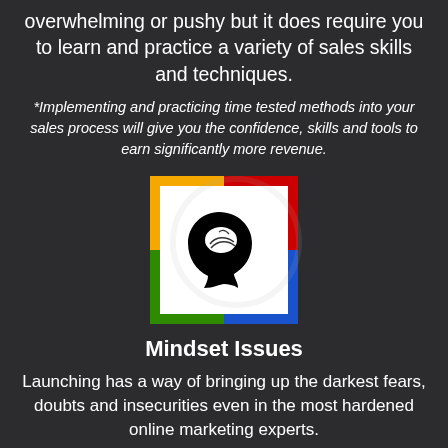overwhelming or pushy but it does require you to learn and practice a variety of sales skills and techniques.
*Implementing and practicing time tested methods into your sales process will give you the confidence, skills and tools to earn significantly more revenue.
[Figure (logo): A white square with a colorful border (top: yellow-orange, right: red, bottom: green, left: blue) containing a black silhouette of a human head with a brain visible inside.]
Mindset Issues
Launching has a way of bringing up the darkest fears, doubts and insecurities even in the most hardened online marketing experts.